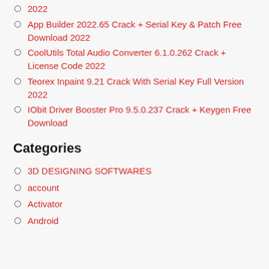2022
App Builder 2022.65 Crack + Serial Key & Patch Free Download 2022
CoolUtils Total Audio Converter 6.1.0.262 Crack + License Code 2022
Teorex Inpaint 9.21 Crack With Serial Key Full Version 2022
IObit Driver Booster Pro 9.5.0.237 Crack + Keygen Free Download
Categories
3D DESIGNING SOFTWARES
account
Activator
Android